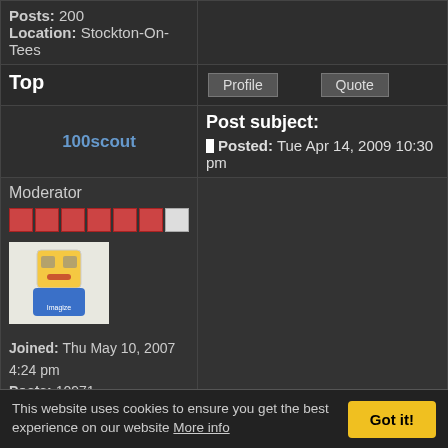| Posts: 200
Location: Stockton-On-Tees |  |
| Top | Profile  Quote |
| 100scout | Post subject:
Posted: Tue Apr 14, 2009 10:30 pm |
| Moderator
[rank bars]
[avatar]
Joined: Thu May 10, 2007 4:24 pm
Posts: 10971
Location: Aylesbury, Bucks
Coupe: gen3 |  |
This website uses cookies to ensure you get the best experience on our website More info